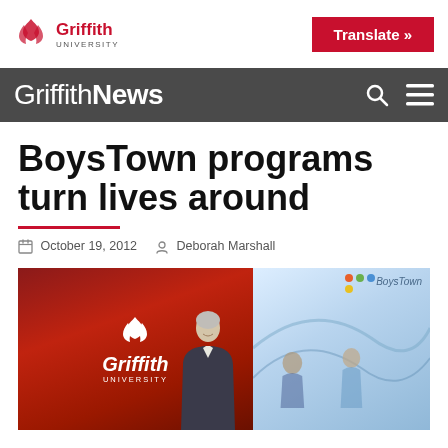[Figure (logo): Griffith University logo with red flame/leaf icon and text 'Griffith University']
[Figure (logo): Red 'Translate »' button]
Griffith News
BoysTown programs turn lives around
October 19, 2012  Deborah Marshall
[Figure (photo): Photo of a man speaking at a Griffith University branded event, with a BoysTown banner visible on the right side]